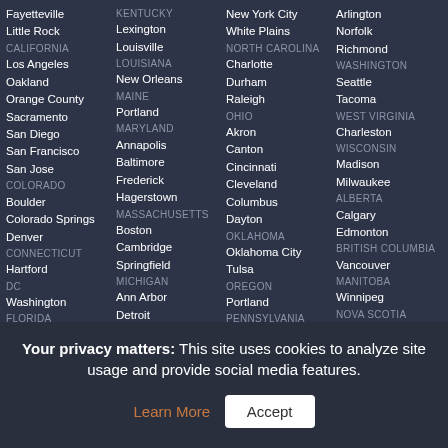Column 1: Fayetteville, Little Rock, CALIFORNIA, Los Angeles, Oakland, Orange County, Sacramento, San Diego, San Francisco, San Jose, COLORADO, Boulder, Colorado Springs, Denver, CONNECTICUT, Hartford, DC, Washington, FLORIDA, Detroit (partial)
Column 2: KENTUCKY, Lexington, Louisville, LOUISIANA, New Orleans, MAINE, Portland, MARYLAND, Annapolis, Baltimore, Frederick, Hagerstown, MASSACHUSETTS, Boston, Cambridge, Springfield, MICHIGAN, Ann Arbor, Detroit
Column 3: New York City, White Plains, NORTH CAROLINA, Charlotte, Durham, Raleigh, OHIO, Akron, Canton, Cincinnati, Cleveland, Columbus, Dayton, OKLAHOMA, Oklahoma City, Tulsa, OREGON, Portland, PENNSYLVANIA
Column 4: Arlington, Norfolk, Richmond, WASHINGTON, Seattle, Tacoma, WEST VIRGINIA, Charleston, WISCONSIN, Madison, Milwaukee, ALBERTA, Calgary, Edmonton, BRITISH COLUMBIA, Vancouver, MANITOBA, Winnipeg, NOVA SCOTIA
Your privacy matters: This site uses cookies to analyze site usage and provide social media features. Learn More  Accept